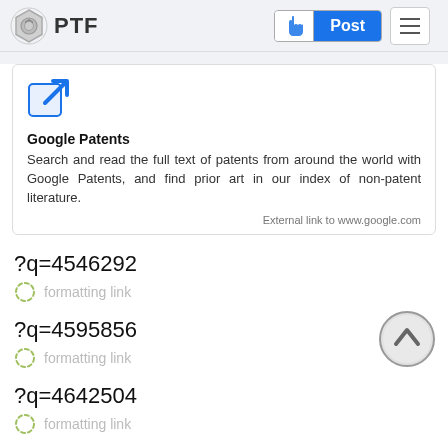PTF | Post
[Figure (other): Google Patents external link card with external link icon, title 'Google Patents', description text, and external link attribution.]
?q=4546292
formatting link
?q=4595856
formatting link
?q=4642504
formatting link
?q=4754185